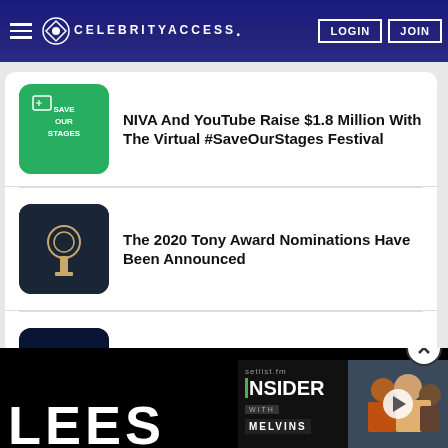CELEBRITYACCESS. LOGIN JOIN
NIVA And YouTube Raise $1.8 Million With The Virtual #SaveOurStages Festival
The 2020 Tony Award Nominations Have Been Announced
Trans-Siberian Orchestra Announces Holiday Livestream
[Figure (screenshot): Bottom black area with large white text 'LEES' partially visible, and a video widget for setlist.fm Insider with Melvins episode]